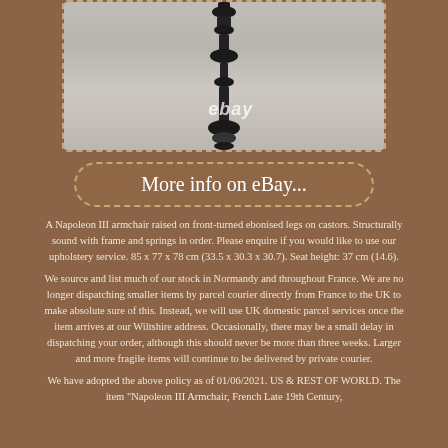[Figure (photo): Close-up photograph of an ebonised turned wooden furniture leg on a castor, shown against a light grey/concrete floor background. The leg has decorative turned detailing and is black/ebonised. An eBay watermark appears in the lower center of the image.]
More info on eBay...
A Napoleon III armchair raised on front-turned ebonised legs on castors. Structurally sound with frame and springs in order. Please enquire if you would like to use our upholstery service. 85 x 77 x 78 cm (33.5 x 30.3 x 30.7). Seat height: 37 cm (14.6).
We source and list much of our stock in Normandy and throughout France. We are no longer dispatching smaller items by parcel courier directly from France to the UK to make absolute sure of this. Instead, we will use UK domestic parcel services once the item arrives at our Wiltshire address. Occasionally, there may be a small delay in dispatching your order, although this should never be more than three weeks. Larger and more fragile items will continue to be delivered by private courier.
We have adopted the above policy as of 01/06/2021. US & REST OF WORLD. The item "Napoleon III Armchair, French Late 19th Century,